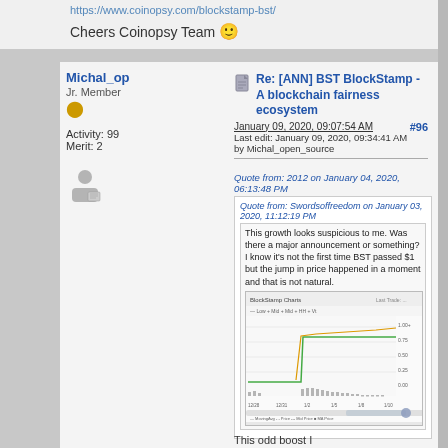https://www.coinopsy.com/blockstamp-bst/
Cheers Coinopsy Team 🙂
Michal_op
Jr. Member
Activity: 99
Merit: 2
Re: [ANN] BST BlockStamp - A blockchain fairness ecosystem
January 09, 2020, 09:07:54 AM
Last edit: January 09, 2020, 09:34:41 AM by Michal_open_source
#96
Quote from: 2012 on January 04, 2020, 06:13:48 PM
Quote from: Swordsoffreedom on January 03, 2020, 11:12:19 PM
This growth looks suspicious to me. Was there a major announcement or something? I know it's not the first time BST passed $1 but the jump in price happened in a moment and that is not natural.
[Figure (screenshot): BlockStamp Charts screenshot showing price chart with a sudden price jump]
This odd boost I